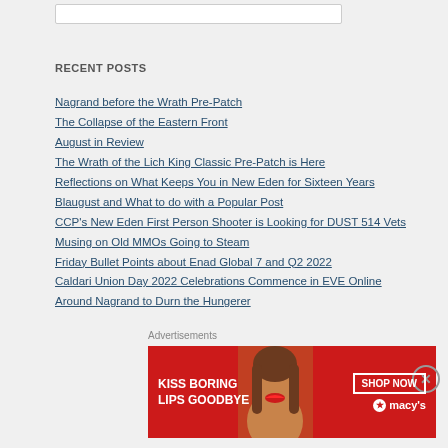RECENT POSTS
Nagrand before the Wrath Pre-Patch
The Collapse of the Eastern Front
August in Review
The Wrath of the Lich King Classic Pre-Patch is Here
Reflections on What Keeps You in New Eden for Sixteen Years
Blaugust and What to do with a Popular Post
CCP's New Eden First Person Shooter is Looking for DUST 514 Vets
Musing on Old MMOs Going to Steam
Friday Bullet Points about Enad Global 7 and Q2 2022
Caldari Union Day 2022 Celebrations Commence in EVE Online
Around Nagrand to Durn the Hungerer
Advertisements
[Figure (photo): Macy's advertisement banner: red background with woman's face, text 'KISS BORING LIPS GOODBYE', SHOP NOW button, and Macy's star logo]